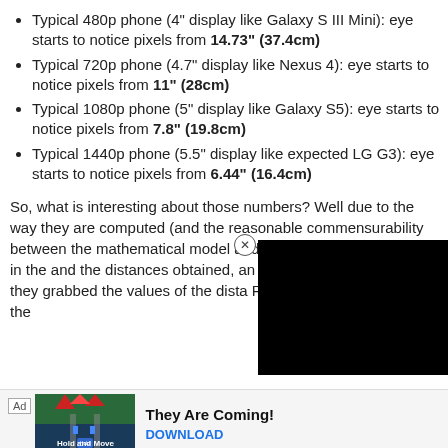Typical 480p phone (4" display like Galaxy S III Mini): eye starts to notice pixels from 14.73" (37.4cm)
Typical 720p phone (4.7" display like Nexus 4): eye starts to notice pixels from 11" (28cm)
Typical 1080p phone (5" display like Galaxy S5): eye starts to notice pixels from 7.8" (19.8cm)
Typical 1440p phone (5.5" display like expected LG G3): eye starts to notice pixels from 6.44" (16.4cm)
So, what is interesting about those numbers? Well due to the way they are computed (and the reasonable commensurability between the mathematical model and reality), when you factor in the and the distances obtained, an equation, you obtain that they grabbed the values of the dista Phone Arena report and fed the
[Figure (other): Advertisement banner with game image and text 'They Are Coming!' with DOWNLOAD button]